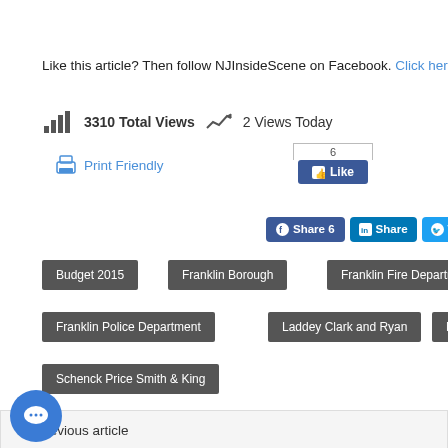Like this article? Then follow NJInsideScene on Facebook. Click her
3310 Total Views  2 Views Today
Print Friendly
[Figure (screenshot): Facebook Like button widget showing count of 6]
[Figure (screenshot): Social share buttons: fb Share 6, LinkedIn Share, Twitter Tweet]
Budget 2015
Franklin Borough
Franklin Fire Department
Franklin Police Department
Laddey Clark and Ryan
New Je[rsey]
Schenck Price Smith & King
← Previous article
lated Articles